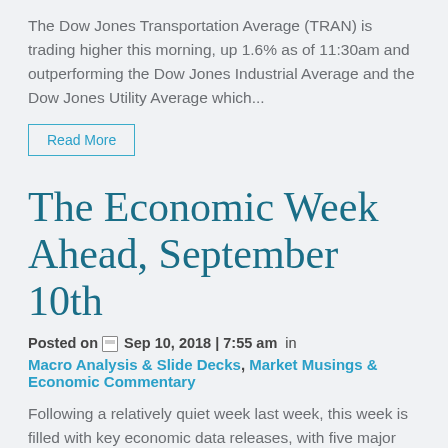The Dow Jones Transportation Average (TRAN) is trading higher this morning, up 1.6% as of 11:30am and outperforming the Dow Jones Industrial Average and the Dow Jones Utility Average which...
Read More
The Economic Week Ahead, September 10th
Posted on Sep 10, 2018 | 7:55 am in Macro Analysis & Slide Decks, Market Musings & Economic Commentary
Following a relatively quiet week last week, this week is filled with key economic data releases, with five major releases due out between Tuesday and Friday. Starting the week off...